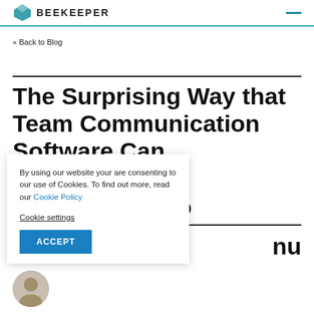BEEKEEPER
« Back to Blog
The Surprising Way that Team Communication Software Can [Boost Your] Company's [Competitive Ad]vantage by 33%
By using our website your are consenting to our use of Cookies. To find out more, read our Cookie Policy
Cookie settings
ACCEPT